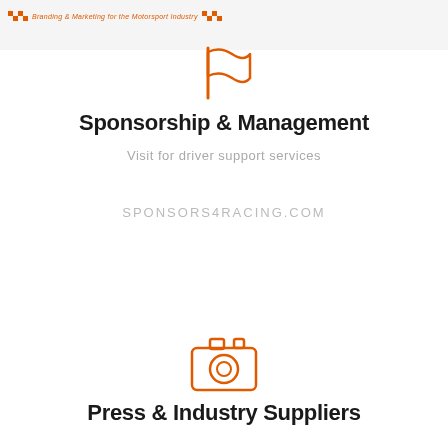Branding & Marketing for the Motorsport Industry
[Figure (illustration): Orange racing flag / speed icon at top center]
Sponsorship & Management
Visit for driver support services
SPONSORS4RACING.COM
[Figure (illustration): Orange camera icon]
Press & Industry Suppliers